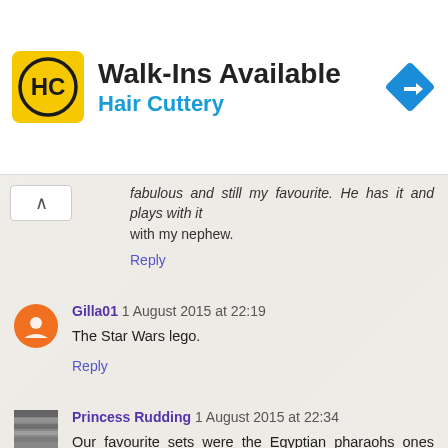[Figure (infographic): Hair Cuttery advertisement banner: yellow HC logo, text 'Walk-Ins Available' and 'Hair Cuttery' in blue, blue diamond turn arrow icon on right]
fabulous and still my favourite. He has it and plays with it with my nephew.
Reply
Gilla01  1 August 2015 at 22:19
The Star Wars lego.
Reply
Princess Rudding  1 August 2015 at 22:34
Our favourite sets were the Egyptian pharaohs ones from the 90s
Reply